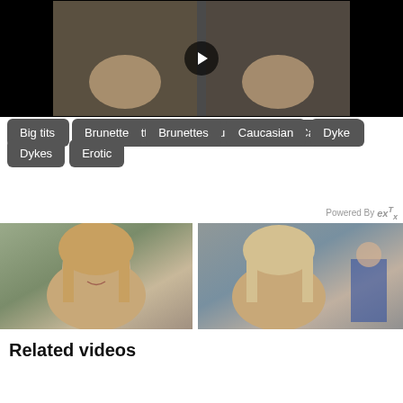[Figure (screenshot): Video player with black background and play button overlay showing thumbnail]
Big tits
Brunette
Brunettes
Caucasian
Dyke
Dykes
Erotic
Powered By exTx
[Figure (photo): Young blonde woman smiling outdoors with trees in background]
[Figure (photo): Blonde woman smiling indoors with people in background]
Related videos